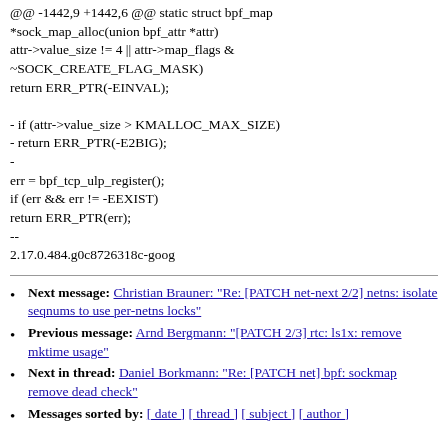@@ -1442,9 +1442,6 @@ static struct bpf_map *sock_map_alloc(union bpf_attr *attr)
attr->value_size != 4 || attr->map_flags &
~SOCK_CREATE_FLAG_MASK)
return ERR_PTR(-EINVAL);

- if (attr->value_size > KMALLOC_MAX_SIZE)
- return ERR_PTR(-E2BIG);
-
err = bpf_tcp_ulp_register();
if (err && err != -EEXIST)
return ERR_PTR(err);
--
2.17.0.484.g0c8726318c-goog
Next message: Christian Brauner: "Re: [PATCH net-next 2/2] netns: isolate seqnums to use per-netns locks"
Previous message: Arnd Bergmann: "[PATCH 2/3] rtc: ls1x: remove mktime usage"
Next in thread: Daniel Borkmann: "Re: [PATCH net] bpf: sockmap remove dead check"
Messages sorted by: [ date ] [ thread ] [ subject ] [ author ]